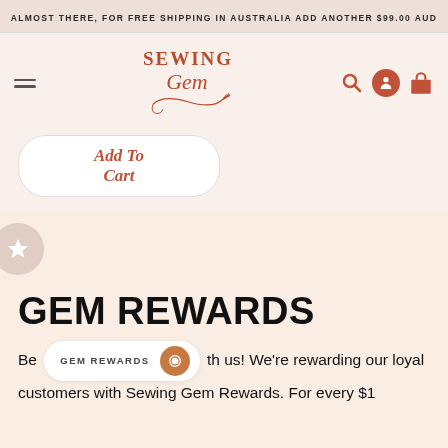ALMOST THERE, FOR FREE SHIPPING IN AUSTRALIA ADD ANOTHER $99.00 AUD
[Figure (logo): Sewing Gem logo with needle and thread in rust/terracotta color]
Add to Cart
GEM REWARDS
GEM REWARDS
Be... th us! We're rewarding our loyal customers with Sewing Gem Rewards. For every $1